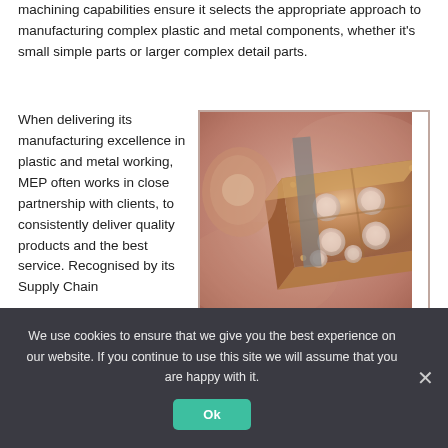machining capabilities ensure it selects the appropriate approach to manufacturing complex plastic and metal components, whether it's small simple parts or larger complex detail parts.
When delivering its manufacturing excellence in plastic and metal working, MEP often works in close partnership with clients, to consistently deliver quality products and the best service. Recognised by its Supply Chain
[Figure (photo): Close-up photo of a machined copper/metal component with multiple circular holes, shown at an angle against a pink/copper-toned background]
We use cookies to ensure that we give you the best experience on our website. If you continue to use this site we will assume that you are happy with it.